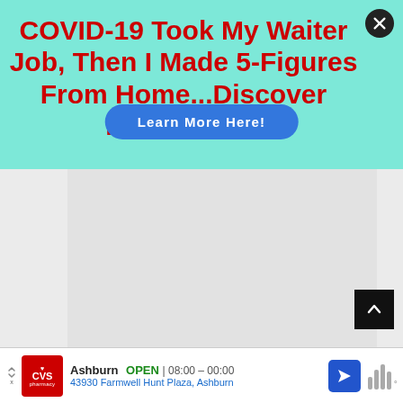[Figure (screenshot): Advertisement banner with mint/aqua background. Bold red text reads: COVID-19 Took My Waiter Job, Then I Made 5-Figures From Home...Discover How I Did It! A blue oval button in the center says 'Learn More Here!'. A dark close button (X) is in the top right corner.]
[Figure (screenshot): Gray content area below the ad banner with a lighter rectangle and a dark scroll-up arrow button on the right side.]
[Figure (screenshot): Bottom bar showing a CVS Pharmacy local ad: 'Ashburn  OPEN | 08:00 – 00:00  43930 Farmwell Hunt Plaza, Ashburn' with CVS logo, navigation arrow icon, and audio bars icon.]